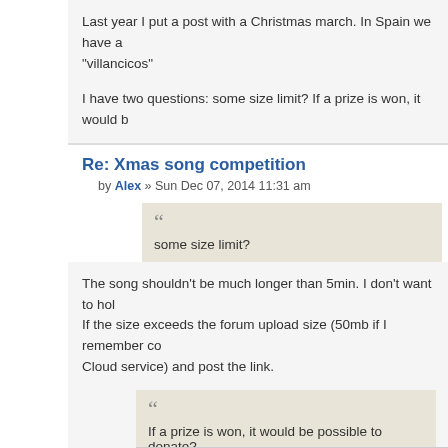Last year I put a post with a Christmas march. In Spain we have a "villancicos"
I have two questions: some size limit? If a prize is won, it would b
Re: Xmas song competition
by Alex » Sun Dec 07, 2014 11:31 am
some size limit?
The song shouldn't be much longer than 5min. I don't want to hol If the size exceeds the forum upload size (50mb if I remember co Cloud service) and post the link.
If a prize is won, it would be possible to donate?
Do you mean that you would want to donate your price to someo Or do you mean that you would want the value of the price in cas